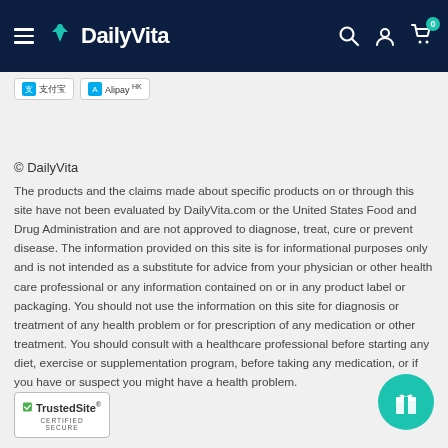DailyVita
[Figure (logo): Alipay and Alipay HK payment method badges]
© DailyVita
The products and the claims made about specific products on or through this site have not been evaluated by DailyVita.com or the United States Food and Drug Administration and are not approved to diagnose, treat, cure or prevent disease. The information provided on this site is for informational purposes only and is not intended as a substitute for advice from your physician or other health care professional or any information contained on or in any product label or packaging. You should not use the information on this site for diagnosis or treatment of any health problem or for prescription of any medication or other treatment. You should consult with a healthcare professional before starting any diet, exercise or supplementation program, before taking any medication, or if you have or suspect you might have a health problem.
[Figure (logo): TrustedSite Certified Secure badge]